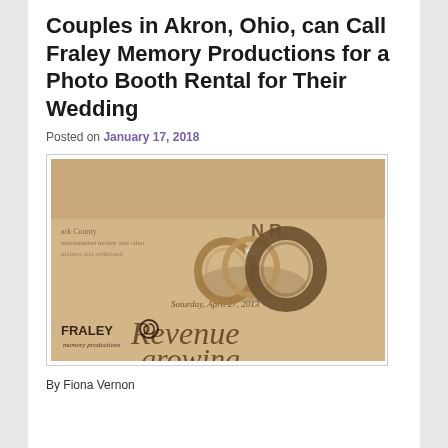Couples in Akron, Ohio, can Call Fraley Memory Productions for a Photo Booth Rental for Their Wedding
Posted on January 17, 2018
[Figure (photo): Sepia-toned photograph of wedding rings resting on a newspaper. The newspaper text shows 'Saturday, April 27, 2013' and 'Revenue growing'. The Fraley Memory Productions logo is visible in the lower left corner.]
By Fiona Vernon